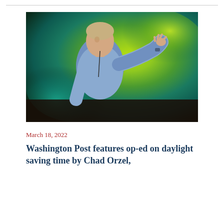[Figure (photo): Man in light blue shirt gesturing with right hand raised, speaking in front of a large colorful projection screen with swirling green, teal, and yellow patterns]
March 18, 2022
Washington Post features op-ed on daylight saving time by Chad Orzel,